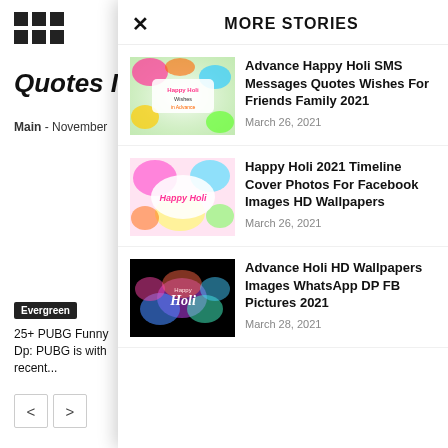[Figure (other): Grid icon (3x2 dots)]
Quotes Im
Main - November
Evergreen
25+ PUBG Funny Dp: PUBG is with recent...
MORE STORIES
[Figure (photo): Happy Holi Wishes in Advance colorful image]
Advance Happy Holi SMS Messages Quotes Wishes For Friends Family 2021
March 26, 2021
[Figure (photo): Happy Holi colorful banner image]
Happy Holi 2021 Timeline Cover Photos For Facebook Images HD Wallpapers
March 26, 2021
[Figure (photo): Advance Holi HD dark background with colorful powder explosion]
Advance Holi HD Wallpapers Images WhatsApp DP FB Pictures 2021
March 28, 2021